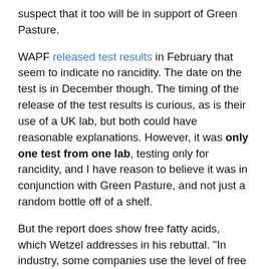suspect that it too will be in support of Green Pasture.
WAPF released test results in February that seem to indicate no rancidity. The date on the test is in December though. The timing of the release of the test results is curious, as is their use of a UK lab, but both could have reasonable explanations. However, it was only one test from one lab, testing only for rancidity, and I have reason to believe it was in conjunction with Green Pasture, and not just a random bottle off of a shelf.
But the report does show free fatty acids, which Wetzel addresses in his rebuttal. "In industry, some companies use the level of free fatty acids for evaluation of the sales value. The level of free fatty acids can be used as an index for oxidation level in the oil. Oxidation processes can release the free fatty acid from the triglyceride which can